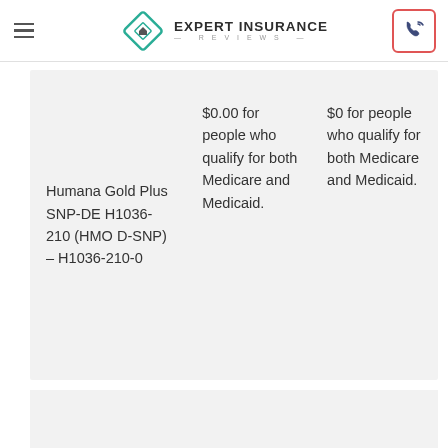Expert Insurance Reviews
| Humana Gold Plus SNP-DE H1036-210 (HMO D-SNP) – H1036-210-0 | $0.00 for people who qualify for both Medicare and Medicaid. | $0 for people who qualify for both Medicare and Medicaid. |